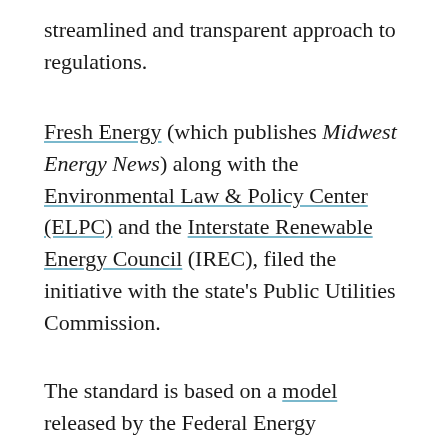streamlined and transparent approach to regulations.
Fresh Energy (which publishes Midwest Energy News) along with the Environmental Law & Policy Center (ELPC) and the Interstate Renewable Energy Council (IREC), filed the initiative with the state's Public Utilities Commission.
The standard is based on a model released by the Federal Energy Regulatory Commission in 2014.
An interconnection standard creates a routine process for customers and utilities to follow when adding renewable energy to the grid. When